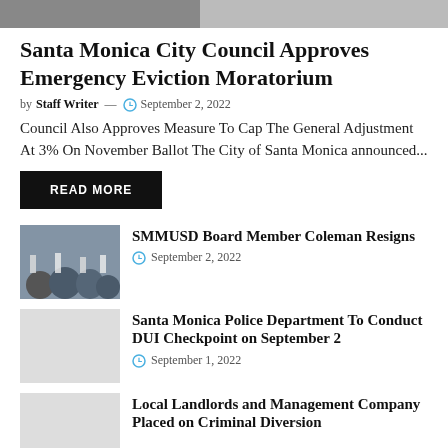[Figure (photo): Top banner photo of building exterior]
Santa Monica City Council Approves Emergency Eviction Moratorium
by Staff Writer — September 2, 2022
Council Also Approves Measure To Cap The General Adjustment At 3% On November Ballot The City of Santa Monica announced...
READ MORE
[Figure (photo): Crowd of protesters holding signs outside building]
SMMUSD Board Member Coleman Resigns
September 2, 2022
[Figure (photo): Grey placeholder thumbnail]
Santa Monica Police Department To Conduct DUI Checkpoint on September 2
September 1, 2022
[Figure (photo): Grey placeholder thumbnail]
Local Landlords and Management Company Placed on Criminal Diversion